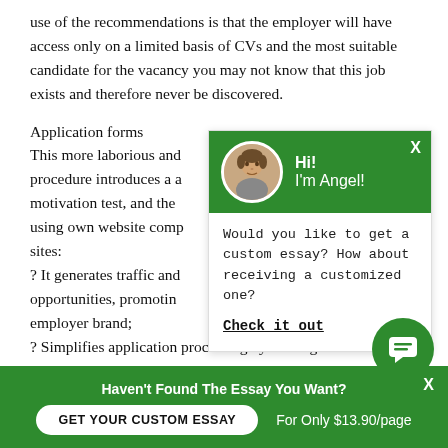use of the recommendations is that the employer will have access only on a limited basis of CVs and the most suitable candidate for the vacancy you may not know that this job exists and therefore never be discovered.
Application forms
This more laborious and procedure introduces a a motivation test, and the using own website comp sites:
? It generates traffic and opportunities, promotin employer brand;
? Simplifies application processing by making it eas
[Figure (screenshot): Chat popup widget with green header showing avatar photo and greeting 'Hi! I'm Angel!', body text 'Would you like to get a custom essay? How about receiving a customized one?' and a bold underlined link 'Check it out'. Green close X in top right corner.]
[Figure (screenshot): Green circular chat button with speech bubble icon in bottom right area.]
Haven't Found The Essay You Want?
GET YOUR CUSTOM ESSAY
For Only $13.90/page